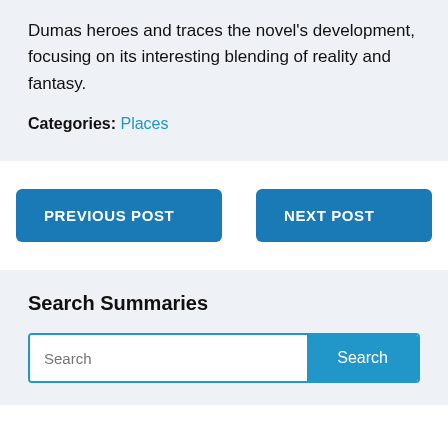Dumas heroes and traces the novel's development, focusing on its interesting blending of reality and fantasy.
Categories: Places
PREVIOUS POST
NEXT POST
Search Summaries
Search